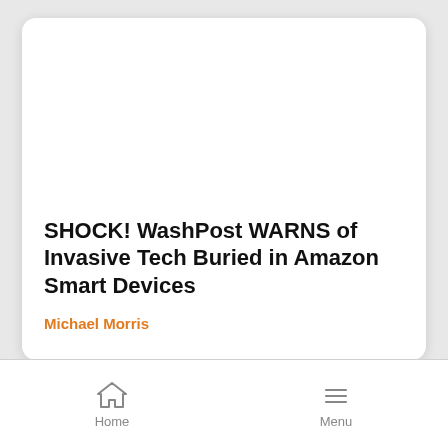SHOCK! WashPost WARNS of Invasive Tech Buried in Amazon Smart Devices
Michael Morris
Home   Menu